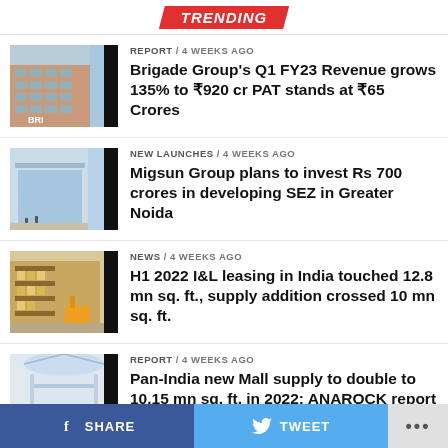TRENDING
REPORT / 4 weeks ago
Brigade Group’s Q1 FY23 Revenue grows 135% to ₹920 cr PAT stands at ₹65 Crores
NEW LAUNCHES / 4 weeks ago
Migsun Group plans to invest Rs 700 crores in developing SEZ in Greater Noida
NEWS / 4 weeks ago
H1 2022 I&L leasing in India touched 12.8 mn sq. ft., supply addition crossed 10 mn sq. ft.
REPORT / 4 weeks ago
Pan-India new Mall supply to double to 10.15 mn sq. ft. in 2022: ANAROCK report
SHARE  TWEET  …